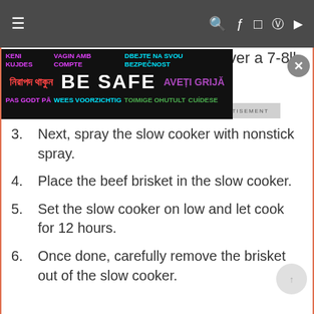Navigation bar with hamburger menu and social icons
[Figure (infographic): BE SAFE multilingual advertisement banner with text in multiple languages and colors on dark background]
ver a 7-8lb
3. Next, spray the slow cooker with nonstick spray.
4. Place the beef brisket in the slow cooker.
5. Set the slow cooker on low and let cook for 12 hours.
6. Once done, carefully remove the brisket out of the slow cooker.